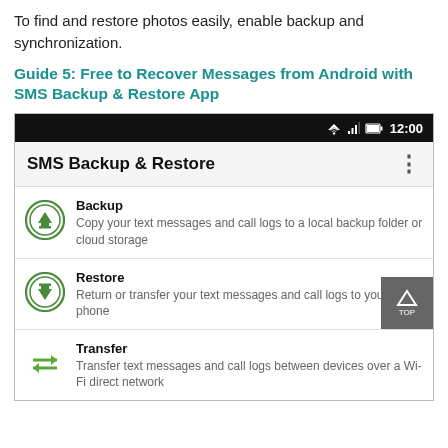To find and restore photos easily, enable backup and synchronization.
Guide 5: Free to Recover Messages from Android with SMS Backup & Restore App
[Figure (screenshot): Screenshot of SMS Backup & Restore Android app showing status bar with time 12:00, app title bar, and three menu options: Backup (Copy your text messages and call logs to a local backup folder or cloud storage), Restore (Return or transfer your text messages and call logs to your phone), and Transfer (Transfer text messages and call logs between devices over a Wi-Fi direct network). A dark gray TOP button is visible in the bottom-right corner.]